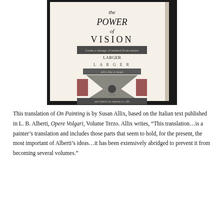[Figure (photo): Photograph of a book open to a page showing 'the POWER of VISION' with decorative typographic layout and an hourglass-shaped illustration in the center.]
This translation of On Painting is by Susan Allix, based on the Italian text published in L. B. Alberti, Opere Volgari, Volume Terzo. Allix writes, "This translation…is a painter's translation and includes those parts that seem to hold, for the present, the most important of Alberti's ideas…it has been extensively abridged to prevent it from becoming several volumes."